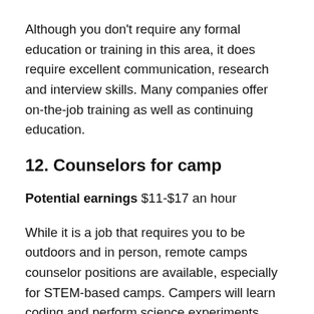Although you don't require any formal education or training in this area, it does require excellent communication, research and interview skills. Many companies offer on-the-job training as well as continuing education.
12. Counselors for camp
Potential earnings $11-$17 an hour
While it is a job that requires you to be outdoors and in person, remote camps counselor positions are available, especially for STEM-based camps. Campers will learn coding and perform science experiments.